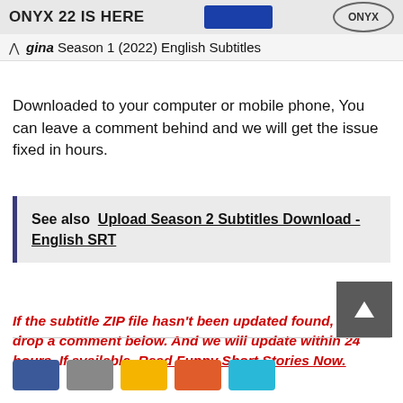ONYX 22 IS HERE | ONYX
gina Season 1 (2022) English Subtitles
Downloaded to your computer or mobile phone, You can leave a comment behind and we will get the issue fixed in hours.
See also  Upload Season 2 Subtitles Download - English SRT
If the subtitle ZIP file hasn't been updated found, Please drop a comment below. And we will update within 24 hours, If available. Read Funny Short Stories Now.